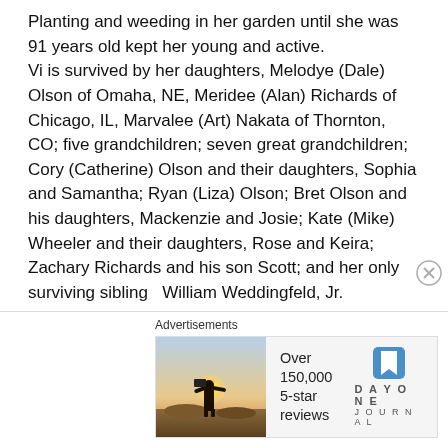Planting and weeding in her garden until she was 91 years old kept her young and active.
Vi is survived by her daughters, Melodye (Dale) Olson of Omaha, NE, Meridee (Alan) Richards of Chicago, IL, Marvalee (Art) Nakata of Thornton, CO; five grandchildren; seven great grandchildren; Cory (Catherine) Olson and their daughters, Sophia and Samantha; Ryan (Liza) Olson; Bret Olson and his daughters, Mackenzie and Josie; Kate (Mike) Wheeler and their daughters, Rose and Keira; Zachary Richards and his son Scott; and her only surviving sibling  William Weddingfeld, Jr.
Preceding Vi in death were her parents; her first husband Harry Johnson, Jr. and her second husband Harry
Advertisements
[Figure (photo): Advertisement banner for DayOne Journal app showing a person photographing a sunset, with text 'Over 150,000 5-star reviews' and the DayOne Journal logo.]